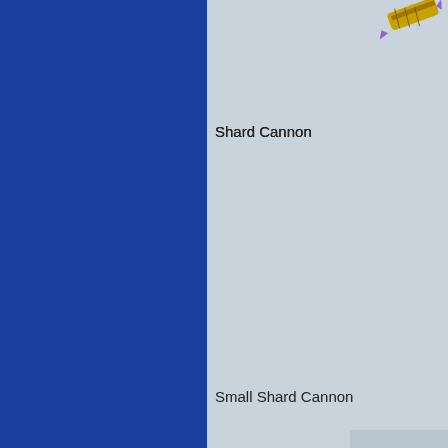[Figure (illustration): Blue vertical panel on the left side of the page]
[Figure (illustration): Light blue-gray background right panel with two weapon illustrations: a Shard Cannon at the top right and a Small Shard Cannon at the bottom right, partially cropped. A darker gray placeholder/camera icon box is overlaid on the lower weapon.]
Shard Cannon
Small Shard Cannon